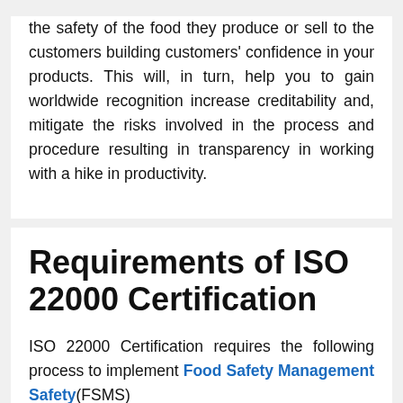the safety of the food they produce or sell to the customers building customers' confidence in your products. This will, in turn, help you to gain worldwide recognition increase creditability and, mitigate the risks involved in the process and procedure resulting in transparency in working with a hike in productivity.
Requirements of ISO 22000 Certification
ISO 22000 Certification requires the following process to implement Food Safety Management Safety(FSMS)